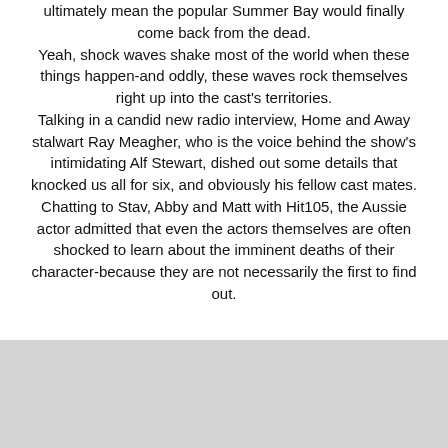ultimately mean the popular Summer Bay would finally come back from the dead. Yeah, shock waves shake most of the world when these things happen-and oddly, these waves rock themselves right up into the cast's territories. Talking in a candid new radio interview, Home and Away stalwart Ray Meagher, who is the voice behind the show's intimidating Alf Stewart, dished out some details that knocked us all for six, and obviously his fellow cast mates. Chatting to Stav, Abby and Matt with Hit105, the Aussie actor admitted that even the actors themselves are often shocked to learn about the imminent deaths of their character-because they are not necessarily the first to find out.